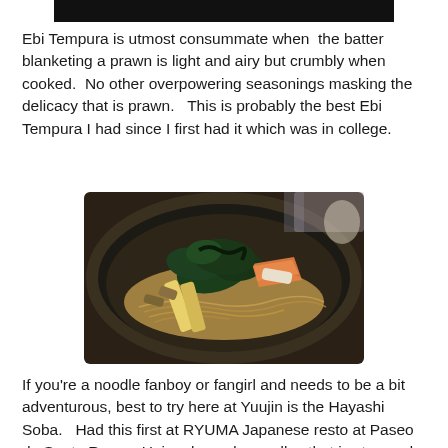[Figure (photo): Dark/black cropped strip at top, appears to be the bottom edge of a food photo]
Ebi Tempura is utmost consummate when  the batter blanketing a prawn is light and airy but crumbly when cooked.  No other overpowering seasonings masking the delicacy that is prawn.   This is probably the best Ebi Tempura I had since I first had it which was in college.
[Figure (photo): A bowl of Japanese Hayashi Soba noodles with tofu, greens, salmon and other toppings served in a dark ceramic bowl]
If you're a noodle fanboy or fangirl and needs to be a bit adventurous, best to try here at Yuujin is the Hayashi Soba.   Had this first at RYUMA Japanese resto at Paseo de Santa Rosa.   Uniquely made noodles that is steamed,